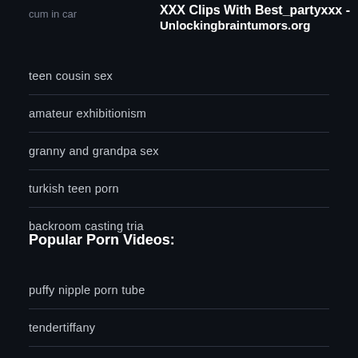cum in car
XXX Clips With Best_partyxxx - Unlockingbraintumors.org
teen cousin sex
amateur exhibitionism
granny and grandpa sex
turkish teen porn
backroom casting tria
Popular Porn Videos:
puffy nipple porn tube
tendertiffany
mckenzie lee anal